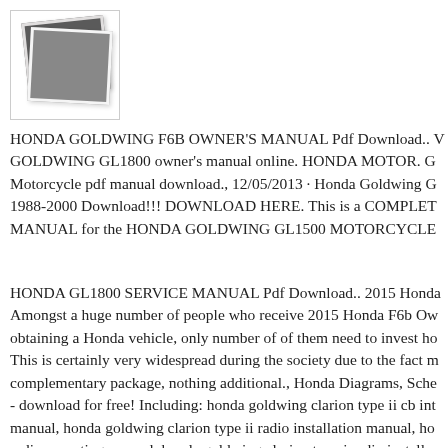[Figure (photo): Placeholder image icon showing two overlapping polaroid-style photo frames]
HONDA GOLDWING F6B OWNER'S MANUAL Pdf Download.. GOLDWING GL1800 owner's manual online. HONDA MOTOR. G Motorcycle pdf manual download., 12/05/2013 · Honda Goldwing G 1988-2000 Download!!! DOWNLOAD HERE. This is a COMPLET MANUAL for the HONDA GOLDWING GL1500 MOTORCYCLE
HONDA GL1800 SERVICE MANUAL Pdf Download.. 2015 Honda Amongst a huge number of people who receive 2015 Honda F6b Ow obtaining a Honda vehicle, only number of of them need to invest ho This is certainly very widespread during the society due to the fact m complementary package, nothing additional., Honda Diagrams, Sche - download for free! Including: honda goldwing clarion type ii cb int manual, honda goldwing clarion type ii radio installation manual, ho radio operating manual, honda goldwing clarion type i radio installa